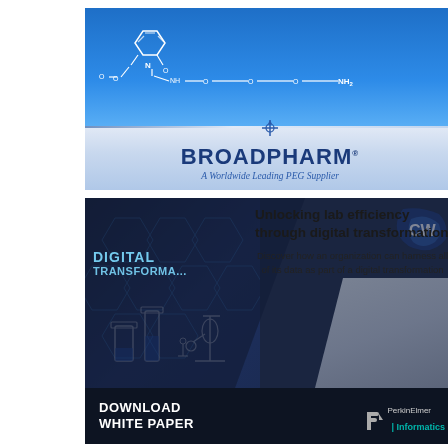[Figure (illustration): BroadPharm advertisement banner. Top section shows blue background with a chemical structure (PEG-linker with NH and NH2 groups). Bottom section shows the BroadPharm logo with crosshair symbol and tagline 'A Worldwide Leading PEG Supplier'.]
[Figure (illustration): PerkinElmer Informatics advertisement. Dark background with hexagonal pattern and lab equipment icons on left. Text: 'Unlocking lab efficiency through digital transformation'. Subtext: 'Discover how an organization can harness all of its data as part of a digital transformation'. Bottom bar with 'DOWNLOAD WHITE PAPER' and PerkinElmer Informatics logo.]